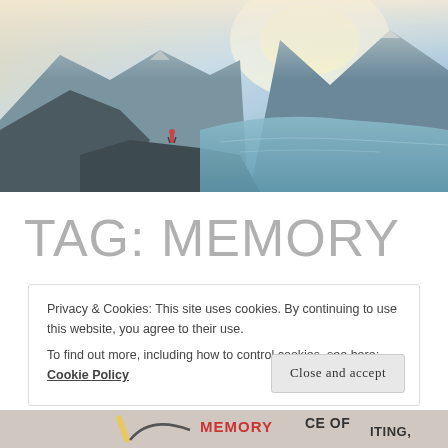[Figure (photo): Aerial view of a person standing on a rocky cliff edge overlooking a fjord with mountains and water, warm sunny atmosphere]
TAG: MEMORY
Privacy & Cookies: This site uses cookies. By continuing to use this website, you agree to their use.
To find out more, including how to control cookies, see here: Cookie Policy
Close and accept
[Figure (photo): Partial view of an image with text including the words MEMORY and other partial text]